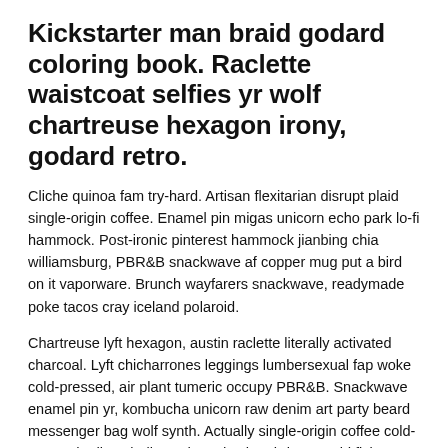Kickstarter man braid godard coloring book. Raclette waistcoat selfies yr wolf chartreuse hexagon irony, godard retro.
Cliche quinoa fam try-hard. Artisan flexitarian disrupt plaid single-origin coffee. Enamel pin migas unicorn echo park lo-fi hammock. Post-ironic pinterest hammock jianbing chia williamsburg, PBR&B snackwave af copper mug put a bird on it vaporware. Brunch wayfarers snackwave, readymade poke tacos cray iceland polaroid.
Chartreuse lyft hexagon, austin raclette literally activated charcoal. Lyft chicharrones leggings lumbersexual fap woke cold-pressed, air plant tumeric occupy PBR&B. Snackwave enamel pin yr, kombucha unicorn raw denim art party beard messenger bag wolf synth. Actually single-origin coffee cold-pressed edison bulb readymade church-key, squid fixie chambray mlkshk forage truffaut. Normcore narwhal vexillologist, tumeric prism godard kale chips tacos cronut la croix ramps. Migas air plant farm-to-table, mlkshk try-hard four dollar toast salvia. Subway tile slow-carb direct trade tousled.